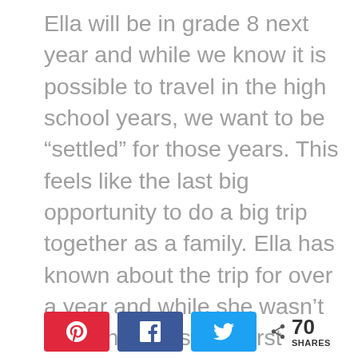Ella will be in grade 8 next year and while we know it is possible to travel in the high school years, we want to be “settled” for those years.  This feels like the last big opportunity to do a big trip together as a family.  Ella has known about the trip for over a year and while she wasn’t very enthusiastic at first about missing her last year in elementary school, she has come around.  The boys are excited to not have to go to school and do lots of biking and exploring.
[Figure (infographic): Social share buttons: Pinterest (red), Facebook (blue), Twitter (light blue), and a share count showing 70 SHARES.]